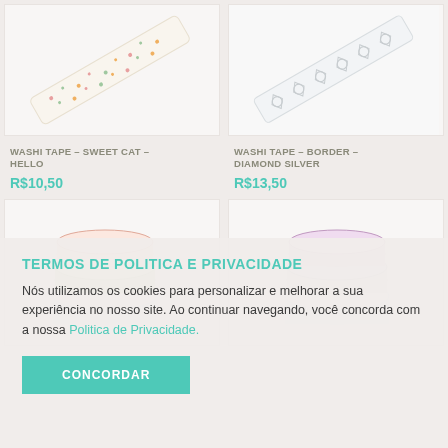[Figure (photo): Washi tape roll - Sweet Cat - Hello, diagonal roll with floral/dot pattern on white background]
[Figure (photo): Washi tape roll - Border - Diamond Silver, diagonal roll with diamond/circle pattern on white background]
WASHI TAPE – SWEET CAT – HELLO
R$10,50
WASHI TAPE – BORDER – DIAMOND SILVER
R$13,50
[Figure (photo): Stack of three washi tape rolls in pastel colors: pink, green, and light blue/white]
[Figure (photo): Stack of three washi tape rolls in pastel colors: pink/purple, silver/white, and light blue]
TERMOS DE POLITICA E PRIVACIDADE
Nós utilizamos os cookies para personalizar e melhorar a sua experiência no nosso site. Ao continuar navegando, você concorda com a nossa Politica de Privacidade.
CONCORDAR